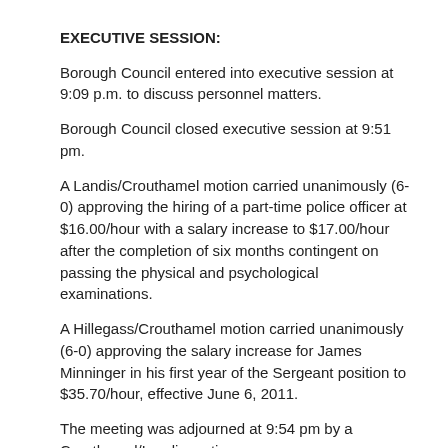EXECUTIVE SESSION:
Borough Council entered into executive session at 9:09 p.m. to discuss personnel matters.
Borough Council closed executive session at 9:51 pm.
A Landis/Crouthamel motion carried unanimously (6-0) approving the hiring of a part-time police officer at $16.00/hour with a salary increase to $17.00/hour after the completion of six months contingent on passing the physical and psychological examinations.
A Hillegass/Crouthamel motion carried unanimously (6-0) approving the salary increase for James Minninger in his first year of the Sergeant position to $35.70/hour, effective June 6, 2011.
The meeting was adjourned at 9:54 pm by a Crouthamel/Landis motion.
Respectfully submitted, Mark D. Fournier
Secretary